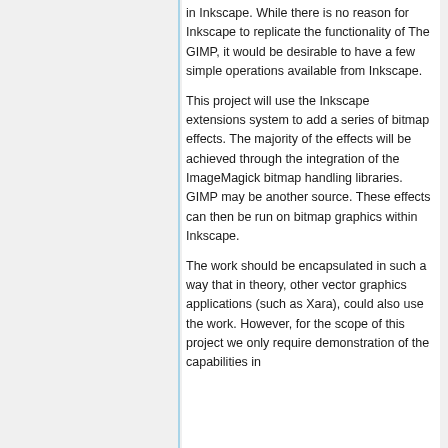in Inkscape. While there is no reason for Inkscape to replicate the functionality of The GIMP, it would be desirable to have a few simple operations available from Inkscape.
This project will use the Inkscape extensions system to add a series of bitmap effects. The majority of the effects will be achieved through the integration of the ImageMagick bitmap handling libraries. GIMP may be another source. These effects can then be run on bitmap graphics within Inkscape.
The work should be encapsulated in such a way that in theory, other vector graphics applications (such as Xara), could also use the work. However, for the scope of this project we only require demonstration of the capabilities in